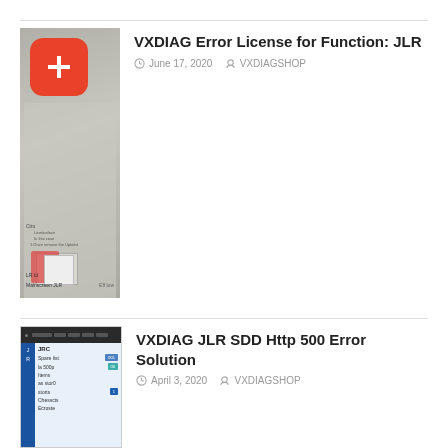[Figure (screenshot): Thumbnail image of a software interface with a red plus icon overlay in the top-left corner]
VXDIAG Error License for Function: JLR
June 17, 2020   VXDIAGSHOP
[Figure (screenshot): Thumbnail screenshot of a diagnostic software interface with a dark header and blue buttons on a light blue background]
VXDIAG JLR SDD Http 500 Error Solution
April 3, 2020   VXDIAGSHOP